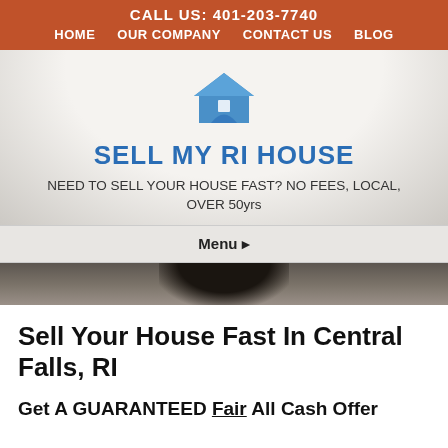CALL US: 401-203-7740
HOME   OUR COMPANY   CONTACT US   BLOG
[Figure (logo): Blue house icon with graduation cap style roof]
SELL MY RI HOUSE
NEED TO SELL YOUR HOUSE FAST? NO FEES, LOCAL, OVER 50yrs
Menu ▸
[Figure (photo): Blurred dark background photo of a house exterior]
Sell Your House Fast In Central Falls, RI
Get A GUARANTEED Fair All Cash Offer